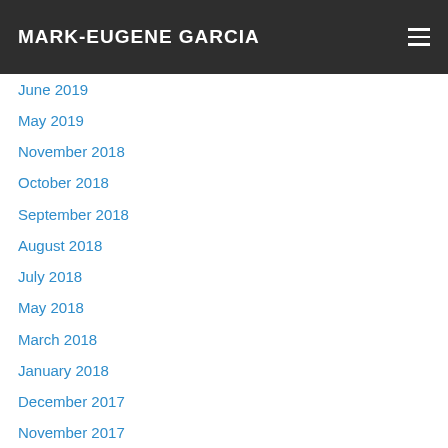MARK-EUGENE GARCIA
June 2019
May 2019
November 2018
October 2018
September 2018
August 2018
July 2018
May 2018
March 2018
January 2018
December 2017
November 2017
July 2017
June 2017
October 2016
September 2016
August 2016